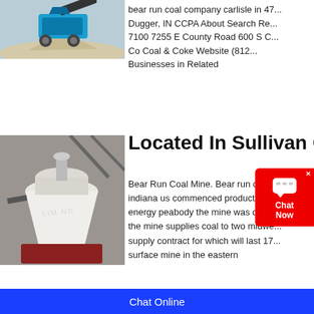[Figure (photo): Mining/crushing equipment machine in outdoor setting with blue machinery and rock pile]
bear run coal company carlisle in 47... Dugger, IN CCPA About Search Re... 7100 7255 E County Road 600 S C... Co Coal & Coke Website (812... Businesses in Related
[Figure (photo): LIMING branded industrial cone crusher mill equipment in workshop/indoor setting]
Located In Sullivan Cou
Bear Run Coal Mine. Bear run coal... indiana us commenced production i... energy peabody the mine was deve... the mine supplies coal to two midwe... supply contract for which will last 17... surface mine in the eastern
Chat Online